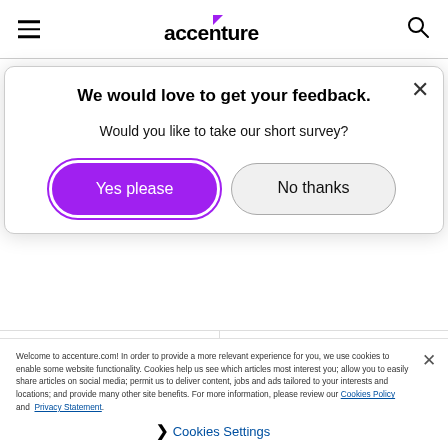accenture
We would love to get your feedback.
Would you like to take our short survey?
Yes please
No thanks
[Figure (logo): CIO Chat logo with speech bubble in purple]
[Figure (logo): XaaS FILES logo in dark purple]
Welcome to accenture.com! In order to provide a more relevant experience for you, we use cookies to enable some website functionality. Cookies help us see which articles most interest you; allow you to easily share articles on social media; permit us to deliver content, jobs and ads tailored to your interests and locations; and provide many other site benefits. For more information, please review our Cookies Policy and Privacy Statement.
Cookies Settings